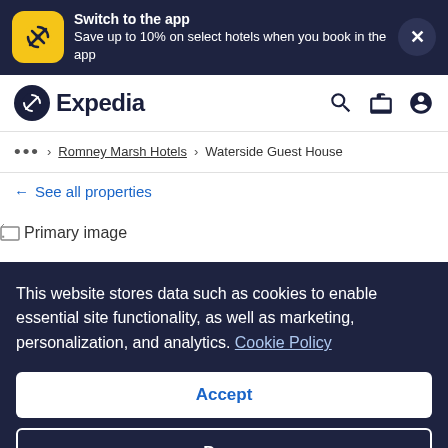[Figure (screenshot): Expedia app promotion banner with yellow app icon, text 'Switch to the app / Save up to 10% on select hotels when you book in the app', and close X button]
[Figure (logo): Expedia logo with dark circular icon and wordmark 'Expedia', plus search, briefcase, and account icons]
... > Romney Marsh Hotels > Waterside Guest House
← See all properties
[Figure (photo): Primary image placeholder (broken image icon with alt text 'Primary image')]
This website stores data such as cookies to enable essential site functionality, as well as marketing, personalization, and analytics. Cookie Policy
Accept
Deny